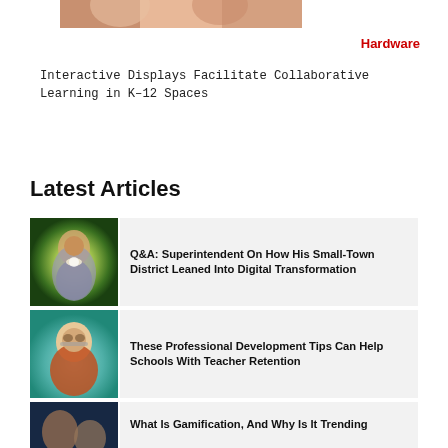[Figure (photo): Partial photo of people at top of page (cropped)]
Hardware
Interactive Displays Facilitate Collaborative Learning in K–12 Spaces
Latest Articles
[Figure (photo): Person presenting on stage with bright light behind them, green background]
Q&A: Superintendent On How His Small-Town District Leaned Into Digital Transformation
[Figure (photo): Older woman with glasses smiling, teal/green background]
These Professional Development Tips Can Help Schools With Teacher Retention
[Figure (photo): People smiling, dark background, partially visible]
What Is Gamification, And Why Is It Trending